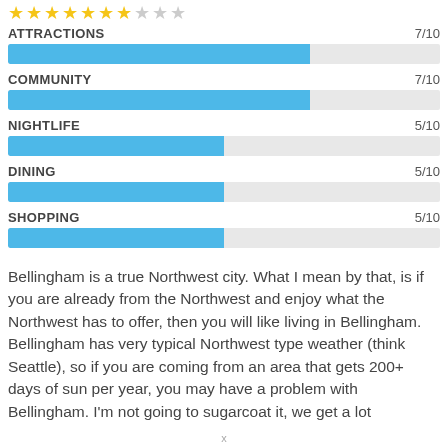[Figure (other): Star rating row: 7 gold stars and 3 gray stars out of 10]
[Figure (bar-chart): Category ratings]
Bellingham is a true Northwest city. What I mean by that, is if you are already from the Northwest and enjoy what the Northwest has to offer, then you will like living in Bellingham. Bellingham has very typical Northwest type weather (think Seattle), so if you are coming from an area that gets 200+ days of sun per year, you may have a problem with Bellingham. I'm not going to sugarcoat it, we get a lot